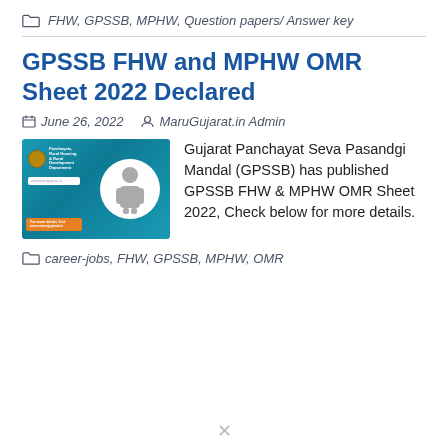FHW, GPSSB, MPHW, Question papers/ Answer key
GPSSB FHW and MPHW OMR Sheet 2022 Declared
June 26, 2022   MaruGujarat.in Admin
[Figure (illustration): Thumbnail image for MaruGujarat.in with teal background, government emblem, person silhouette in circle, search bar, and orange banner with website text]
Gujarat Panchayat Seva Pasandgi Mandal (GPSSB) has published GPSSB FHW & MPHW OMR Sheet 2022, Check below for more details.
career-jobs, FHW, GPSSB, MPHW, OMR